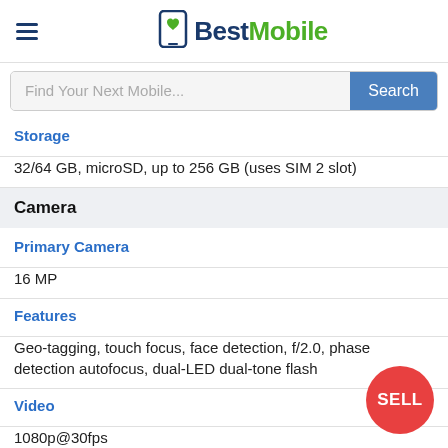BestMobile
Find Your Next Mobile...
Storage
32/64 GB, microSD, up to 256 GB (uses SIM 2 slot)
Camera
Primary Camera
16 MP
Features
Geo-tagging, touch focus, face detection, f/2.0, phase detection autofocus, dual-LED dual-tone flash
Video
1080p@30fps
Secondary Camera
8 MP